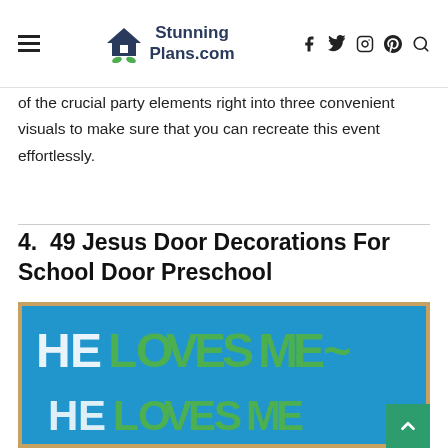StunningPlans.com — navigation bar with hamburger menu, logo, and social icons (f, twitter, instagram, pinterest, search)
of the crucial party elements right into three convenient visuals to make sure that you can recreate this event effortlessly.
4. 49 Jesus Door Decorations For School Door Preschool
[Figure (photo): A blue bulletin board / door decoration with large green and white letters reading 'HE LOVES ME~ HE LOVES ME' arranged in two rows on a bright blue background.]